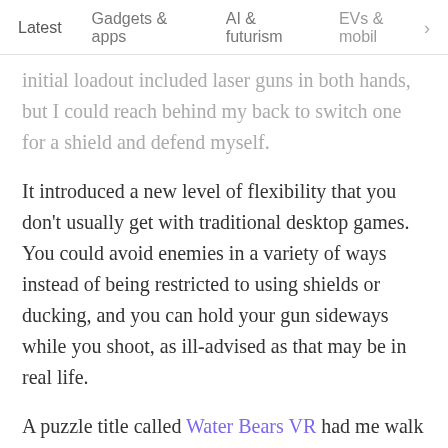Latest   Gadgets & apps   AI & futurism   EVs & mobil  >
initial loadout included laser guns in both hands, but I could reach behind my back to switch one for a shield and defend myself.
It introduced a new level of flexibility that you don't usually get with traditional desktop games. You could avoid enemies in a variety of ways instead of being restricted to using shields or ducking, and you can hold your gun sideways while you shoot, as ill-advised as that may be in real life.
A puzzle title called Water Bears VR had me walk around elaborate arrangements of pipes and reconfigure them so they'd pour colored liquids on stange little creatures to free them from bubbles.